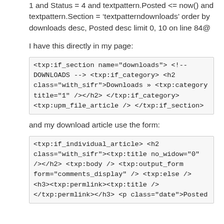1 and Status = 4 and textpattern.Posted <= now() and textpattern.Section = 'textpatterndownloads' order by downloads desc, Posted desc limit 0, 10 on line 84@
I have this directly in my page:
<txp:if_section name="downloads"> <!-- DOWNLOADS --> <txp:if_category> <h2 class="with_sifr">Downloads » <txp:category title="1" /></h2> </txp:if_category> <txp:upm_file_article /> </txp:if_section>
and my download article use the form:
<txp:if_individual_article> <h2 class="with_sifr"><txp:title no_widow="0" /></h2> <txp:body /> <txp:output_form form="comments_display" /> <txp:else /> <h3><txp:permlink><txp:title /> </txp:permlink></h3> <p class="date">Posted